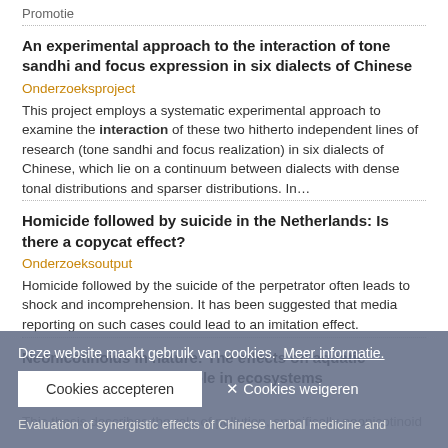Promotie
An experimental approach to the interaction of tone sandhi and focus expression in six dialects of Chinese
Onderzoeksproject
This project employs a systematic experimental approach to examine the interaction of these two hitherto independent lines of research (tone sandhi and focus realization) in six dialects of Chinese, which lie on a continuum between dialects with dense tonal distributions and sparser distributions. In…
Homicide followed by suicide in the Netherlands: Is there a copycat effect?
Onderzoeksoutput
Homicide followed by the suicide of the perpetrator often leads to shock and incomprehension. It has been suggested that media reporting on such cases could lead to an imitation effect.
Neonicotinoids in nature: The effects on aquatic invertebrates and their role in ecosystems
Onderzoeksoutput
This thesis describes the role of pollution, specifically neonicotinoid…
Deze website maakt gebruik van cookies.  Meer informatie.
Cookies accepteren   ✕ Cookies weigeren